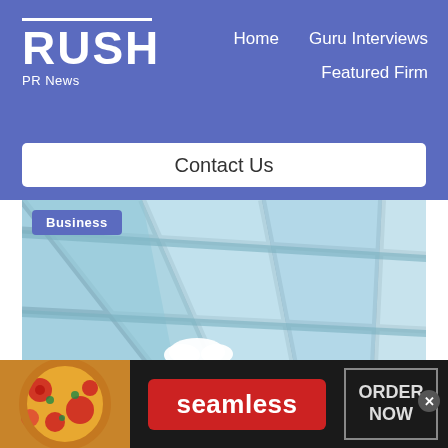RUSH PR News — Home | Guru Interviews | Featured Firm
Contact Us
[Figure (photo): View looking up through a glass skylight ceiling with metal framing, revealing a blue sky with a single white cloud visible through the panes.]
Business
[Figure (photo): Seamless food delivery advertisement banner with pizza on the left, a red Seamless logo/button in the center, and an ORDER NOW button on the right.]